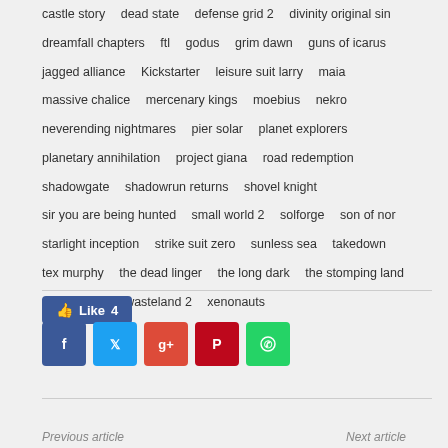castle story   dead state   defense grid 2   divinity original sin   dreamfall chapters   ftl   godus   grim dawn   guns of icarus   jagged alliance   Kickstarter   leisure suit larry   maia   massive chalice   mercenary kings   moebius   nekro   neverending nightmares   pier solar   planet explorers   planetary annihilation   project giana   road redemption   shadowgate   shadowrun returns   shovel knight   sir you are being hunted   small world 2   solforge   son of nor   starlight inception   strike suit zero   sunless sea   takedown   tex murphy   the dead linger   the long dark   the stomping land   top 50   tug   wasteland 2   xenonauts
[Figure (other): Facebook Like button showing count of 4]
[Figure (other): Social sharing icons: Facebook, Twitter, Google+, Pinterest, WhatsApp]
Previous article   Next article